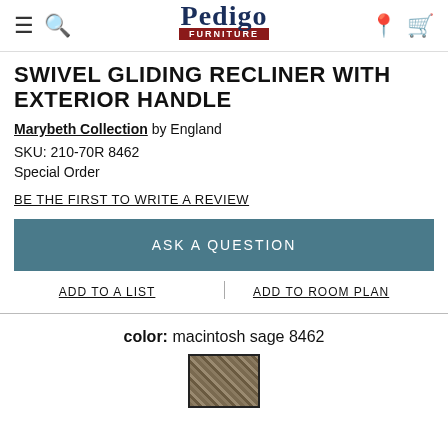Pedigo Furniture
SWIVEL GLIDING RECLINER WITH EXTERIOR HANDLE
Marybeth Collection by England
SKU: 210-70R 8462
Special Order
BE THE FIRST TO WRITE A REVIEW
ASK A QUESTION
ADD TO A LIST
ADD TO ROOM PLAN
color: macintosh sage 8462
[Figure (photo): Fabric swatch showing macintosh sage 8462 color — a woven brownish-green textile texture]